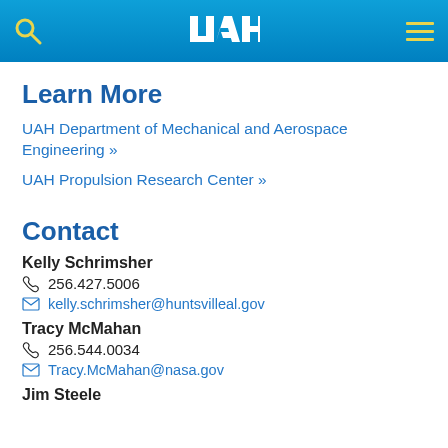UAH
Learn More
UAH Department of Mechanical and Aerospace Engineering »
UAH Propulsion Research Center »
Contact
Kelly Schrimsher
256.427.5006
kelly.schrimsher@huntsvilleal.gov
Tracy McMahan
256.544.0034
Tracy.McMahan@nasa.gov
Jim Steele